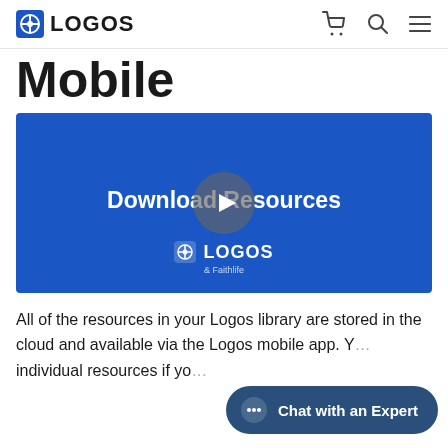LOGOS
Mobile
[Figure (screenshot): Video thumbnail with blue background showing 'Download Resources' text, a play button circle in the center, and Logos by Faithlife logo at bottom]
All of the resources in your Logos library are stored in the cloud and available via the Logos mobile app. Y... individual resources if yo...
[Figure (other): Chat with an Expert button overlay in dark blue rounded pill shape]